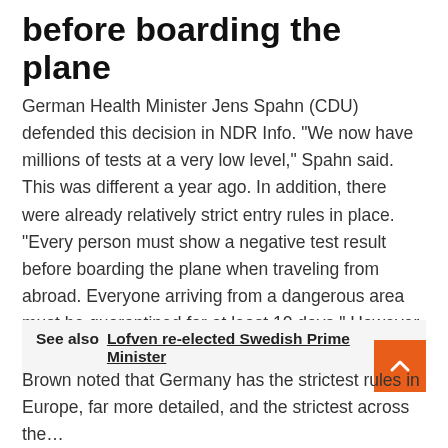before boarding the plane
German Health Minister Jens Spahn (CDU) defended this decision in NDR Info. “We now have millions of tests at a very low level,” Spahn said. This was different a year ago. In addition, there were already relatively strict entry rules in place. “Every person must show a negative test result before boarding the plane when traveling from abroad. Everyone arriving from a dangerous area must be quarantined for at least 10 days.” However, free testing is possible.
See also  Lofven re-elected Swedish Prime Minister
Brown noted that Germany has the strictest rules in Europe, far more detailed, and the strictest across the board.